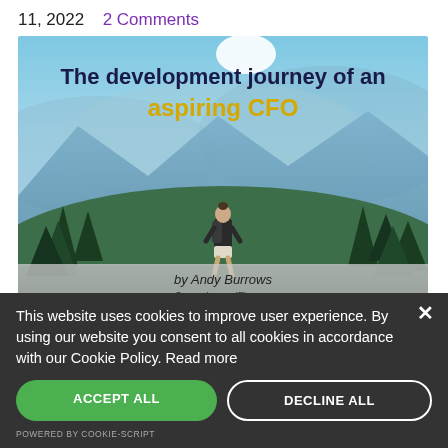11, 2022   2 Comments
[Figure (illustration): Book cover image showing a person with a backpack standing on a mountain peak overlooking a blue sky and mountain range landscape. Text overlay reads: 'The development journey of an aspiring CFO' by Andy Burrows, www.SuperchargedFinance.com]
This website uses cookies to improve user experience. By using our website you consent to all cookies in accordance with our Cookie Policy. Read more
ACCEPT ALL
DECLINE ALL
POWERED BY COOKIE-SCRIPT